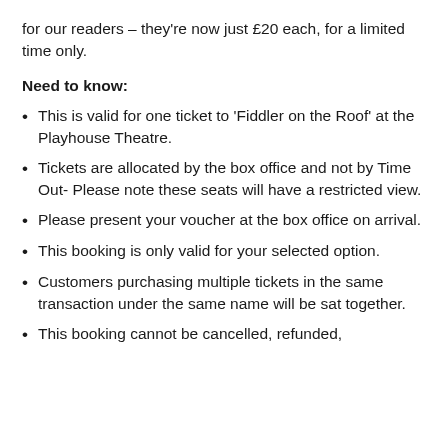for our readers – they're now just £20 each, for a limited time only.
Need to know:
This is valid for one ticket to 'Fiddler on the Roof' at the Playhouse Theatre.
Tickets are allocated by the box office and not by Time Out- Please note these seats will have a restricted view.
Please present your voucher at the box office on arrival.
This booking is only valid for your selected option.
Customers purchasing multiple tickets in the same transaction under the same name will be sat together.
This booking cannot be cancelled, refunded,